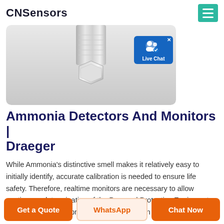CNSensors
[Figure (photo): Close-up photo of a metallic sensor/detector component with hex nut fitting on a light grey background]
Ammonia Detectors And Monitors | Draeger
While Ammonia's distinctive smell makes it relatively easy to initially identify, accurate calibration is needed to ensure life safety. Therefore, realtime monitors are necessary to allow continuous determination of the Personal Protective Equipment (PPE) necessary to provide proper protection